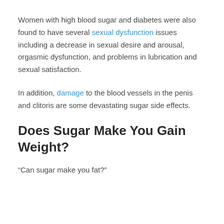Women with high blood sugar and diabetes were also found to have several sexual dysfunction issues including a decrease in sexual desire and arousal, orgasmic dysfunction, and problems in lubrication and sexual satisfaction.
In addition, damage to the blood vessels in the penis and clitoris are some devastating sugar side effects.
Does Sugar Make You Gain Weight?
“Can sugar make you fat?”